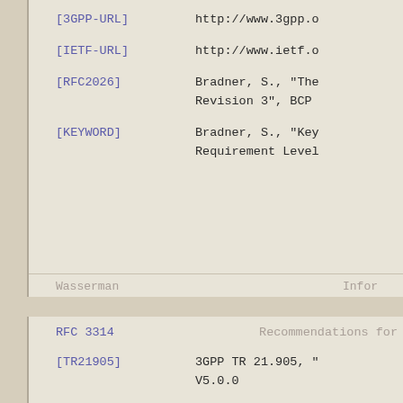[3GPP-URL]    http://www.3gpp.o
[IETF-URL]    http://www.ietf.o
[RFC2026]     Bradner, S., "The Revision 3", BCP
[KEYWORD]     Bradner, S., "Key Requirement Level
Wasserman                                          Infor
RFC 3314          Recommendations for
[TR21905]     3GPP TR 21.905, " V5.0.0
[IPV6]        Deering, S. and R 6 (IPv6) Specific